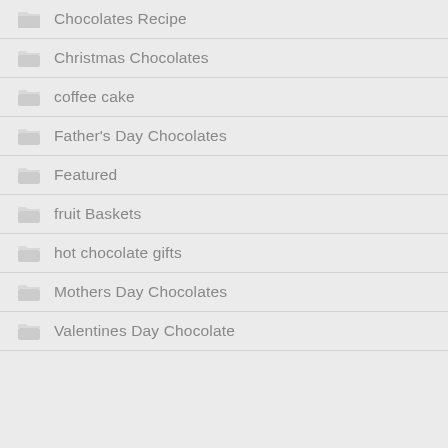Chocolates Recipe
Christmas Chocolates
coffee cake
Father's Day Chocolates
Featured
fruit Baskets
hot chocolate gifts
Mothers Day Chocolates
Valentines Day Chocolate